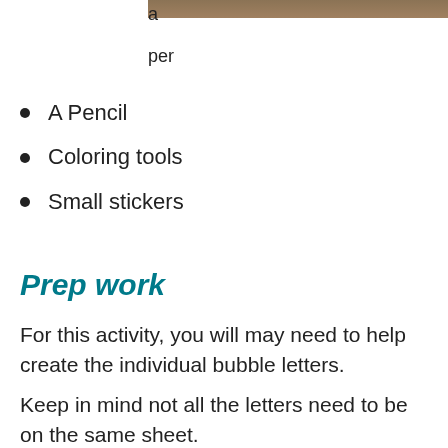[Figure (photo): Partial image strip at top right of page, brown/tan colored background]
a
per
A Pencil
Coloring tools
Small stickers
Prep work
For this activity, you will may need to help create the individual bubble letters.
Keep in mind not all the letters need to be on the same sheet.